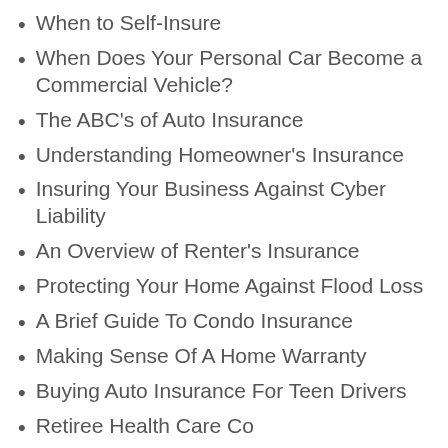When to Self-Insure
When Does Your Personal Car Become a Commercial Vehicle?
The ABC's of Auto Insurance
Understanding Homeowner's Insurance
Insuring Your Business Against Cyber Liability
An Overview of Renter's Insurance
Protecting Your Home Against Flood Loss
A Brief Guide To Condo Insurance
Making Sense Of A Home Warranty
Buying Auto Insurance For Teen Drivers
Retiree Health Care Co…